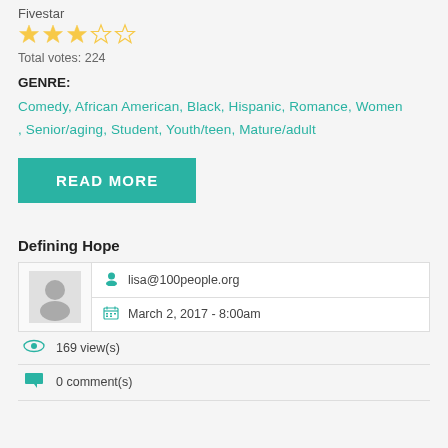Fivestar
[Figure (other): Star rating: 3 filled stars, 2 empty stars]
Total votes: 224
GENRE:
Comedy, African American, Black, Hispanic, Romance, Women, Senior/aging, Student, Youth/teen, Mature/adult
READ MORE
Defining Hope
lisa@100people.org
March 2, 2017 - 8:00am
169 view(s)
0 comment(s)